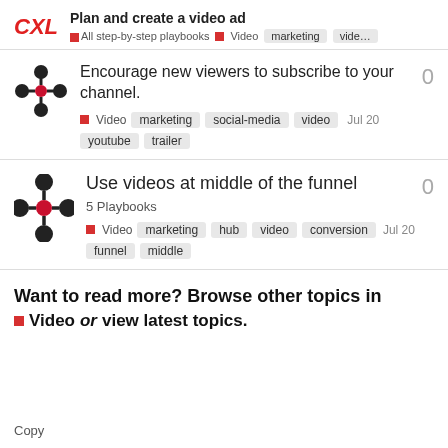CXL — Plan and create a video ad | All step-by-step playbooks | Video | marketing | vide…
Encourage new viewers to subscribe to your channel. 0 | Video | marketing social-media video youtube trailer | Jul 20
Use videos at middle of the funnel | 5 Playbooks | 0 | Video | marketing hub video conversion funnel middle | Jul 20
Want to read more? Browse other topics in Video or view latest topics.
Copy